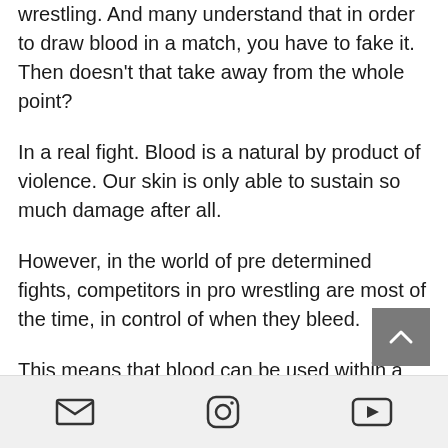wrestling. And many understand that in order to draw blood in a match, you have to fake it. Then doesn't that take away from the whole point?
In a real fight. Blood is a natural by product of violence. Our skin is only able to sustain so much damage after all.
However, in the world of pre determined fights, competitors in pro wrestling are most of the time, in control of when they bleed.
This means that blood can be used within a match in order to tell a more
[email icon] [instagram icon] [youtube icon]